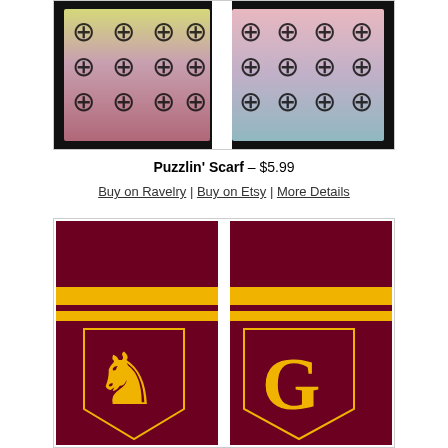[Figure (photo): Two knitted scarves with puzzle piece pattern in multicolor gradient (yellow-pink on left, pink-blue on right) on black background]
Puzzlin' Scarf – $5.99
Buy on Ravelry | Buy on Etsy | More Details
[Figure (photo): Knitted Gryffindor-style scarf in dark red/maroon with gold stripes and lion/G crest motifs]